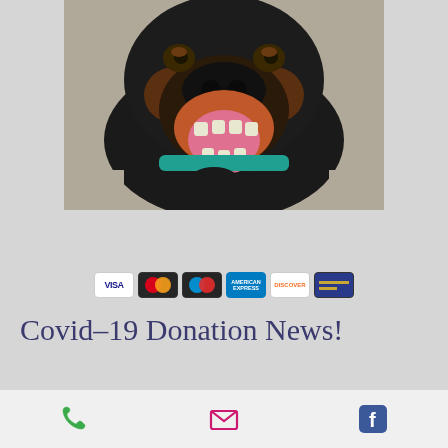[Figure (photo): Close-up photo of a Rottweiler dog with mouth open, tongue out, wearing a teal collar, looking at camera from above]
[Figure (other): PayPal Donate button with yellow/gold rounded rectangle and bold dark text 'Donate']
[Figure (other): Payment method icons: Visa, Mastercard, Maestro, American Express, Discover, and another card]
Covid-19 Donation News!
Did you know that the recently passed Coronavirus Aid, Relief, and. Economic Security Act (CARES) includes enhanced benefits for charitable gifts? There are new tax deductions for cash contributions
[Figure (other): Footer bar with phone icon (green), email/envelope icon (pink/magenta), and Facebook icon (blue)]